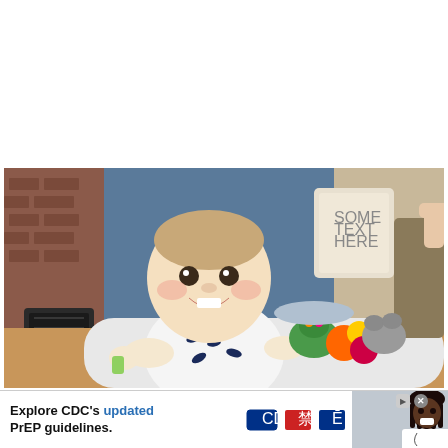[Figure (photo): A smiling baby in a white onesie with navy whale print, lying on a mat surrounded by colorful stuffed toys. Brick fireplace and blue wall visible in background.]
[Figure (photo): Advertisement banner: 'Explore CDC's updated PrEP guidelines.' with CDC logo, decorative icons, and a smiling Black female doctor in white coat on the right side.]